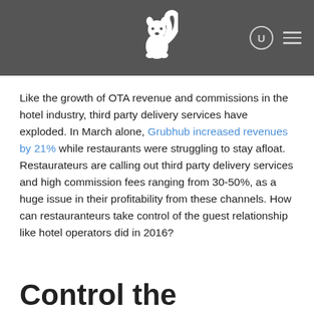[Figure (logo): White squirrel logo on dark grey header bar with search and menu icons]
Like the growth of OTA revenue and commissions in the hotel industry, third party delivery services have exploded. In March alone, Grubhub increased revenues by 21% while restaurants were struggling to stay afloat. Restaurateurs are calling out third party delivery services and high commission fees ranging from 30-50%, as a huge issue in their profitability from these channels. How can restauranteurs take control of the guest relationship like hotel operators did in 2016?
Control the